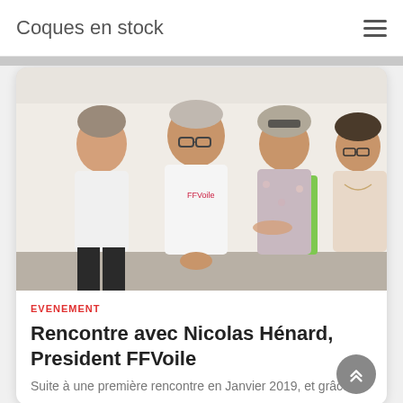Coques en stock
[Figure (photo): Group photo of four people (two men and two women) standing together in an indoor setting, smiling at the camera.]
EVENEMENT
Rencontre avec Nicolas Hénard, President FFVoile
Suite à une première rencontre en Janvier 2019, et grâce